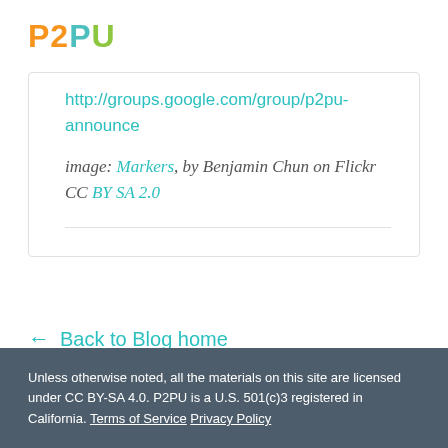[Figure (logo): P2PU logo in colorful block letters]
http://groups.google.com/group/p2pu-announce
image: Markers, by Benjamin Chun on Flickr CC BY SA 2.0
← Back to Blog home
Unless otherwise noted, all the materials on this site are licensed under CC BY-SA 4.0. P2PU is a U.S. 501(c)3 registered in California. Terms of Service Privacy Policy